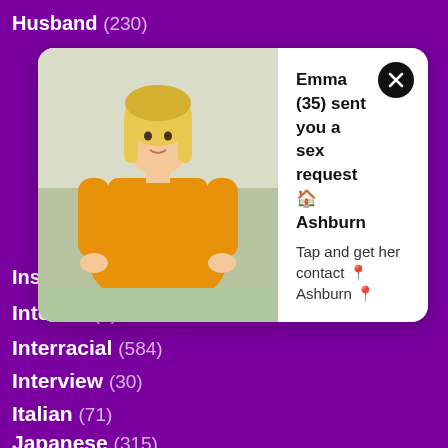Husband (230)
Inside (59)
Internal (5)
Interracial (584)
Interview (30)
Italian (71)
Japanese (315)
Jeans (10)
Wank (17)
Wet (133)
White (223)
Whore (93)
Wife (1040)
Wild (55)
Workout (22)
Worship (40)
[Figure (other): Popup notification with photo of a woman in orange outfit, close button, and message: Emma (35) sent you a sex request Ashburn / Tap and get her contact Ashburn]